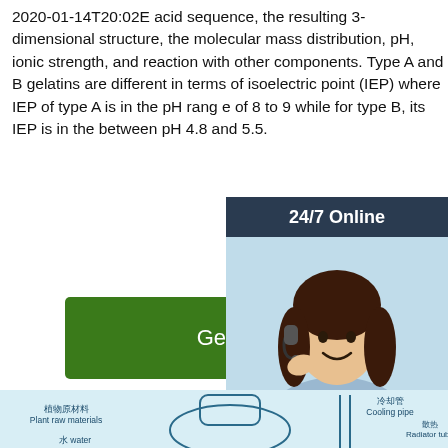2020-01-14T20:02E acid sequence, the resulting 3-dimensional structure, the molecular mass distribution, pH, ionic strength, and reaction with other components. Type A and B gelatins are different in terms of isoelectric point (IEP) where IEP of type A is in the pH range of 8 to 9 while for type B, its IEP is in the between pH 4.8 and 5.5.
[Figure (illustration): Customer service representative with headset, 24/7 Online chat widget with QUOTATION button]
[Figure (schematic): Industrial distillation/extraction diagram with labeled components: Cooling pipe (冷却管), Radiator tube (散热管), Plant raw materials (植物原材料), water (水 water), with a boiler/still setup]